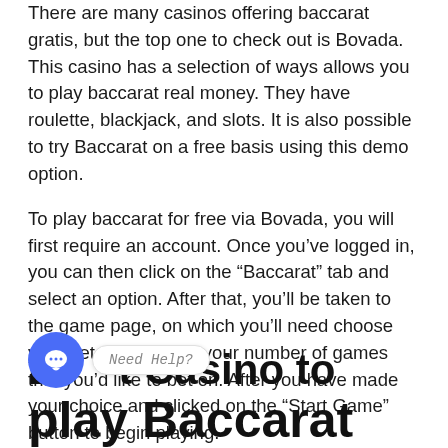There are many casinos offering baccarat gratis, but the top one to check out is Bovada. This casino has a selection of ways allows you to play baccarat real money. They have roulette, blackjack, and slots. It is also possible to try Baccarat on a free basis using this demo option.
To play baccarat for free via Bovada, you will first require an account. Once you've logged in, you can then click on the “Baccarat” tab and select an option. After that, you’ll be taken to the game page, on which you’ll need choose your bet amount and your number of games that you’d like to bet on. After you have made your choice and clicked on the “Start Game” button to begin playing.
Best Casino to play Baccarat